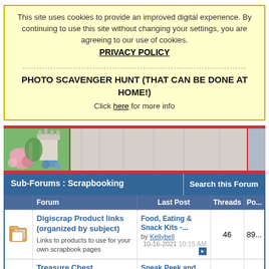This site uses cookies to provide an improved digital experience. By continuing to use this site without changing your settings, you are agreeing to our use of cookies. PRIVACY POLICY
--------------------------------------------------------------------------------
PHOTO SCAVENGER HUNT (THAT CAN BE DONE AT HOME!)
Click here for more info
[Figure (illustration): Website banner with castle illustration on left, floral decorations, pink and blue color scheme with red border stripes]
| (icon) | Forum | Last Post | Threads | Po... |
| --- | --- | --- | --- | --- |
| (folder icon) | Digiscrap Product links (organized by subject)
Links to products to use for your own scrapbook pages | Food, Eating & Snack Kits -...
by Kellybell
10-16-2021 10:15 AM | 46 | 89... |
| (chest icon) | Treasure Chest
Goodies and news from our sponsors! | Sneak Peek and Facebook...
by marinapi
Yesterday 11:50 AM | 727 | 75... |